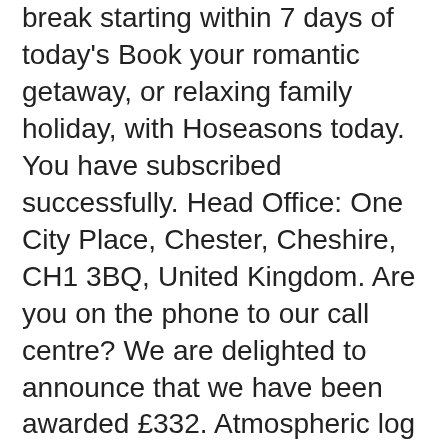break starting within 7 days of today's Book your romantic getaway, or relaxing family holiday, with Hoseasons today. You have subscribed successfully. Head Office: One City Place, Chester, Cheshire, CH1 3BQ, United Kingdom. Are you on the phone to our call centre? We are delighted to announce that we have been awarded £332. Atmospheric log cabin on edge of woods with private lake trout fishing. Scroll through and/or filter your search results to find the properties that best match your needs. 1. From the highlands to the Scottish borders, Scotland is packed full of history, culture and natural beauty, making it the perfect destination for a log cabin holiday. Whether for a mini-moon, a honeymoon or a break with friends, this superb adults-only log cabin with its private hot tub with mood lighting is something special; add to this a